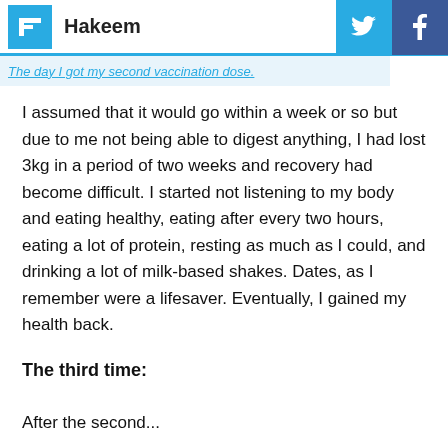Hakeem
The day I got my second vaccination dose.
I assumed that it would go within a week or so but due to me not being able to digest anything, I had lost 3kg in a period of two weeks and recovery had become difficult. I started not listening to my body and eating healthy, eating after every two hours, eating a lot of protein, resting as much as I could, and drinking a lot of milk-based shakes. Dates, as I remember were a lifesaver. Eventually, I gained my health back.
The third time:
After the second...